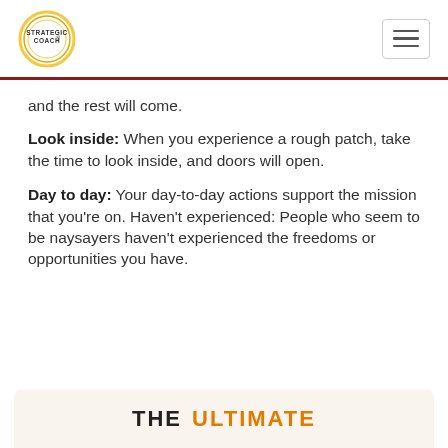STRATEGIC COACH®
and the rest will come.
Look inside: When you experience a rough patch, take the time to look inside, and doors will open.
Day to day: Your day-to-day actions support the mission that you're on. Haven't experienced: People who seem to be naysayers haven't experienced the freedoms or opportunities you have.
THE ULTIMATE